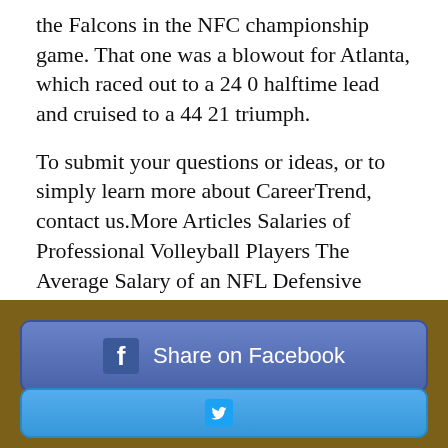the Falcons in the NFC championship game. That one was a blowout for Atlanta, which raced out to a 24 0 halftime lead and cruised to a 44 21 triumph.
To submit your questions or ideas, or to simply learn more about CareerTrend, contact us.More Articles Salaries of Professional Volleyball Players The Average Salary of an NFL Defensive Coordinator How Much Money Does an NFL Player Make a Year? Roles Responsibilities of a Basketball Referee How to Become an NFL Coach What Is the Average Amount of Money a Professional Soccer Player Makes Per Year.
[Figure (other): Share on Facebook button (blue rounded rectangle with Facebook 'f' icon) and a partially visible Twitter/share button below, on a dark olive/brown background bar]